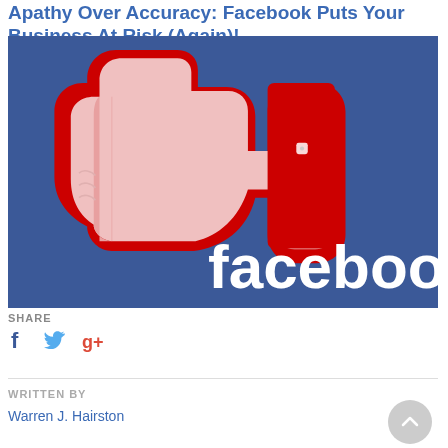Apathy Over Accuracy: Facebook Puts Your Business At Risk (Again)!
[Figure (illustration): Facebook 'dislike' or thumbs-down image on a dark blue background with red border outline of the thumb, and the word 'facebook' in white bold text at the bottom right.]
SHARE
[Figure (other): Social media share icons: Facebook (f), Twitter (bird), Google+ (g+)]
WRITTEN BY
Warren J. Hairston